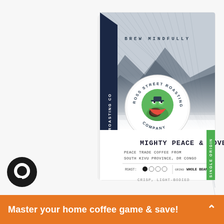[Figure (photo): A coffee bag from Ross Street Roasting Company showing 'Mighty Peace & Love' product — Peace Trade Coffee from South Kivu Province, DR Congo. The bag is white with a dark navy blue gusset, featuring the company logo (a frog carrying coffee beans), 'BREW MINDFULLY' text, mountain imagery, a green 'Single Origin' strip on the right, roast level indicator, and 'Whole Bean' grind. A black circular chat icon is visible in the lower left.]
Master your home coffee game & save!